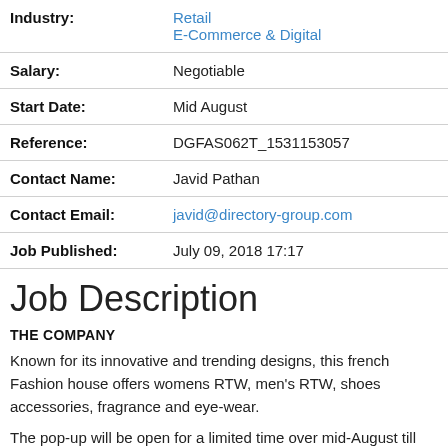| Field | Value |
| --- | --- |
| Industry: | Retail
E-Commerce & Digital |
| Salary: | Negotiable |
| Start Date: | Mid August |
| Reference: | DGFAS062T_1531153057 |
| Contact Name: | Javid Pathan |
| Contact Email: | javid@directory-group.com |
| Job Published: | July 09, 2018 17:17 |
Job Description
THE COMPANY
Known for its innovative and trending designs, this french Fashion house offers womens RTW, men's RTW, shoes accessories, fragrance and eye-wear.
The pop-up will be open for a limited time over mid-August till end of September and is expected to be a competitive...